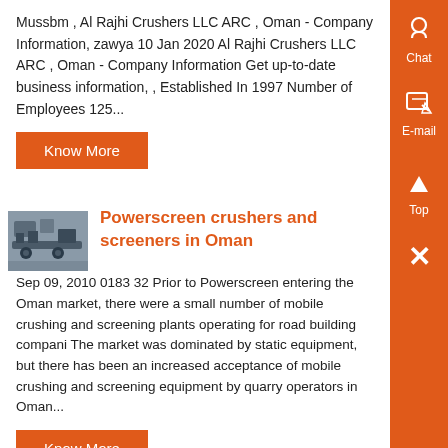Mussbm , Al Rajhi Crushers LLC ARC , Oman - Company Information, zawya 10 Jan 2020 Al Rajhi Crushers LLC ARC , Oman - Company Information Get up-to-date business information, , Established In 1997 Number of Employees 125...
Know More
[Figure (photo): Industrial machinery / crusher equipment photo thumbnail]
Powerscreen crushers and screeners in Oman
Sep 09, 2010 0183 32 Prior to Powerscreen entering the Oman market, there were a small number of mobile crushing and screening plants operating for road building compani The market was dominated by static equipment, but there has been an increased acceptance of mobile crushing and screening equipment by quarry operators in Oman...
Know More